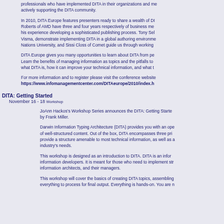professionals who have implemented DITA in their organizations and me actively supporting the DITA community.
In 2010, DITA Europe features presenters ready to share a wealth of DI Roberts of AMD have three and four years respectively of business me his experience developing a sophisticated publishing process. Tony Sel Visma, demonstrate implementing DITA in a global authoring environme Nations University, and Sissi Closs of Comet guide us through working
DITA Europe gives you many opportunities to learn about DITA from pe Learn the benefits of managing information as topics and the pitfalls to what DITA is, how it can improve your technical information, and what t
For more information and to register please visit the conference website https://www.infomanagementcenter.com/DITAeurope/2010/index.h
DITA: Getting Started
November 16 - 18 Workshop
JoAnn Hackos's Workshop Series announces the DITA: Getting Starte by Frank Miller.
Darwin Information Typing Architecture (DITA) provides you with an ope of well-structured content. Out of the box, DITA encompasses three pri provide a structure amenable to most technical information, as well as industry's needs.
This workshop is designed as an introduction to DITA. DITA is an infor information developers. It is meant for those who need to implement str information architects, and their managers.
This workshop will cover the basics of creating DITA topics, assembling everything to process for final output. Everything is hands-on. You are n